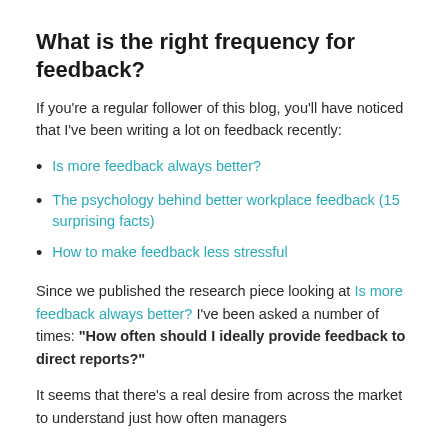What is the right frequency for feedback?
If you're a regular follower of this blog, you'll have noticed that I've been writing a lot on feedback recently:
Is more feedback always better?
The psychology behind better workplace feedback (15 surprising facts)
How to make feedback less stressful
Since we published the research piece looking at Is more feedback always better? I've been asked a number of times: "How often should I ideally provide feedback to direct reports?"
It seems that there's a real desire from across the market to understand just how often managers